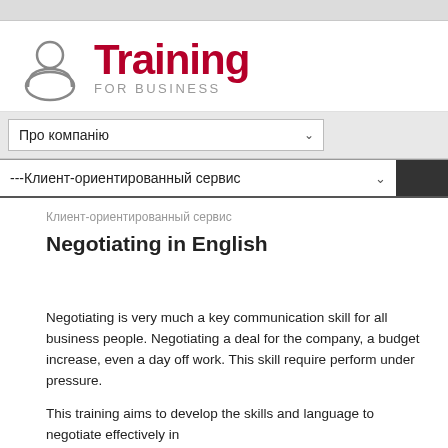[Figure (logo): Training For Business logo with person icon and red/gray text]
Про компанію ˅
---Клиент-ориентированный сервис ˅
Клиент-ориентированный сервис
Negotiating in English
Negotiating is very much a key communication skill for all business people. Negotiating a deal for the company, a budget increase, even a day off work. This skill require perform under pressure.
This training aims to develop the skills and language to negotiate effectively in